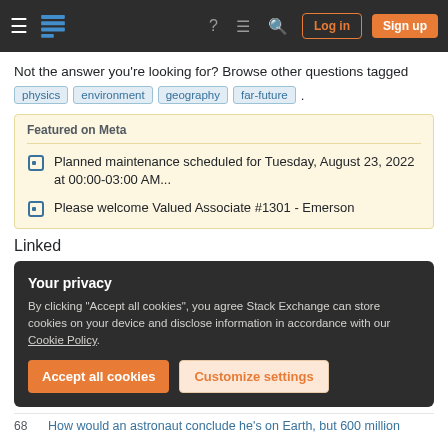Stack Exchange navigation bar with Log in and Sign up buttons
Not the answer you're looking for? Browse other questions tagged physics environment geography far-future .
Featured on Meta
Planned maintenance scheduled for Tuesday, August 23, 2022 at 00:00-03:00 AM...
Please welcome Valued Associate #1301 - Emerson
Linked
Your privacy
By clicking "Accept all cookies", you agree Stack Exchange can store cookies on your device and disclose information in accordance with our Cookie Policy.
68  How would an astronaut conclude he's on Earth, but 600 million